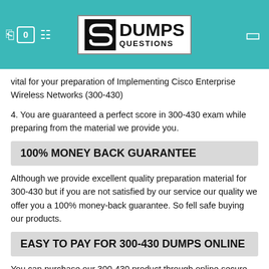DumpsQuestions
vital for your preparation of Implementing Cisco Enterprise Wireless Networks (300-430)
4. You are guaranteed a perfect score in 300-430 exam while preparing from the material we provide you.
100% MONEY BACK GUARANTEE
Although we provide excellent quality preparation material for 300-430 but if you are not satisfied by our service our quality we offer you a 100% money-back guarantee. So fell safe buying our products.
EASY TO PAY FOR 300-430 DUMPS ONLINE
You can purchase our 300-430 product through online secure payment methods, like as Credit Cards, Visa, Master Cards, American Express, and Discover.